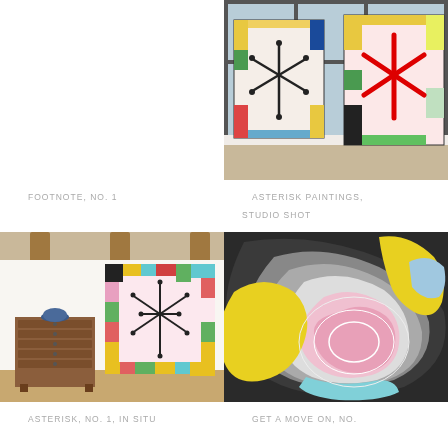[Figure (photo): Empty white space, top-left cell]
[Figure (photo): Studio shot of large colorful paintings with asterisk/star motifs leaning against wall, colorful border rectangles in red, yellow, green, blue on white canvases]
FOOTNOTE, NO. 1
ASTERISK PAINTINGS, STUDIO SHOT
[Figure (photo): Asterisk No. 1 painting hung on white wall in situ, with wooden dresser/cabinet below and exposed ceiling beams above; painting has colorful rectangular border patches and black asterisk/star center]
[Figure (photo): Close-up detail of abstract artwork with swirling contour lines in yellow, pink, white, and dark gray/black patterns suggesting topographic map or organic forms]
ASTERISK, NO. 1, IN SITU
GET A MOVE ON, NO.